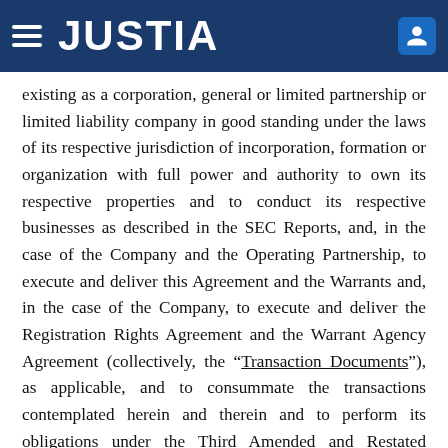JUSTIA
existing as a corporation, general or limited partnership or limited liability company in good standing under the laws of its respective jurisdiction of incorporation, formation or organization with full power and authority to own its respective properties and to conduct its respective businesses as described in the SEC Reports, and, in the case of the Company and the Operating Partnership, to execute and deliver this Agreement and the Warrants and, in the case of the Company, to execute and deliver the Registration Rights Agreement and the Warrant Agency Agreement (collectively, the “Transaction Documents”), as applicable, and to consummate the transactions contemplated herein and therein and to perform its obligations under the Third Amended and Restated Management Agreement